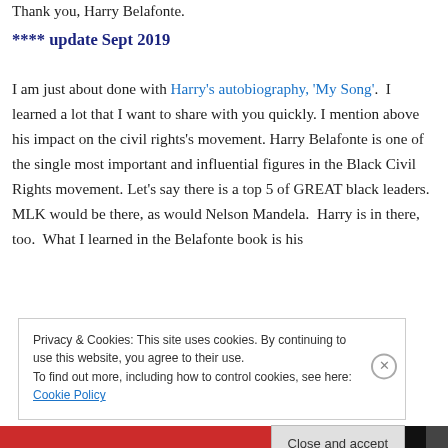Thank you, Harry Belafonte.
**** update Sept 2019
I am just about done with Harry's autobiography, ‘My Song’.  I learned a lot that I want to share with you quickly.  I mention above his impact on the civil rights’s movement.  Harry Belafonte is one of the single most important and influential figures in the Black Civil Rights movement.  Let’s say there is a top 5 of GREAT black leaders.  MLK would be there, as would Nelson Mandela.  Harry is in there, too.  What I learned in the Belafonte book is his
Privacy & Cookies: This site uses cookies. By continuing to use this website, you agree to their use.
To find out more, including how to control cookies, see here: Cookie Policy
Close and accept